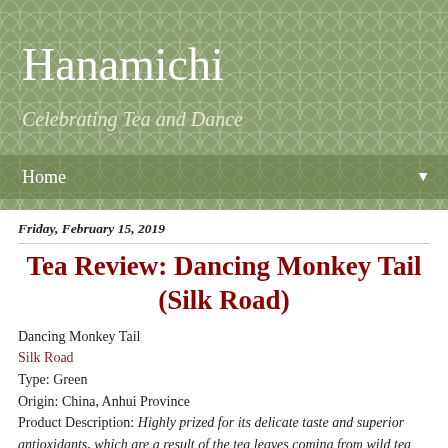Hanamichi
Celebrating Tea and Dance
Home
Friday, February 15, 2019
Tea Review: Dancing Monkey Tail (Silk Road)
Dancing Monkey Tail
Silk Road
Type: Green
Origin: China, Anhui Province
Product Description: Highly prized for its delicate taste and superior antioxidants, which are a result of the tea leaves coming from wild tea bushes, and also because of painstaking ancient artisanal methods that maximize nutrient value and retain the tea's